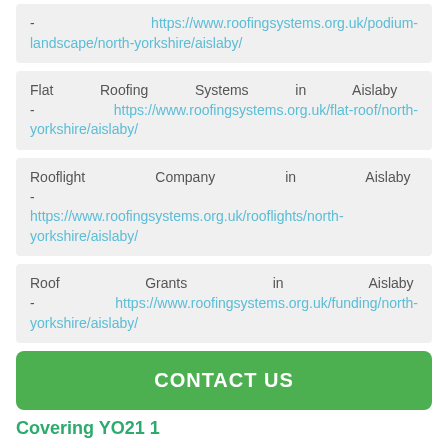- https://www.roofingsystems.org.uk/podium-landscape/north-yorkshire/aislaby/
Flat Roofing Systems in Aislaby - https://www.roofingsystems.org.uk/flat-roof/north-yorkshire/aislaby/
Rooflight Company in Aislaby - https://www.roofingsystems.org.uk/rooflights/north-yorkshire/aislaby/
Roof Grants in Aislaby - https://www.roofingsystems.org.uk/funding/north-yorkshire/aislaby/
CONTACT US
Covering YO21 1